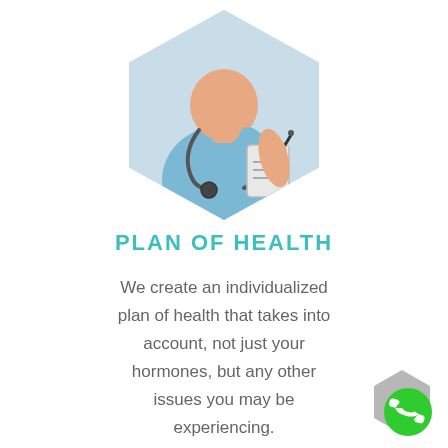[Figure (illustration): Hexagonal cropped photo of a nurse/doctor in blue scrubs with a stethoscope, writing on a clipboard]
PLAN OF HEALTH
We create an individualized plan of health that takes into account, not just your hormones, but any other issues you may be experiencing.
[Figure (logo): Gray hexagon with green circle phone icon in bottom-right corner]